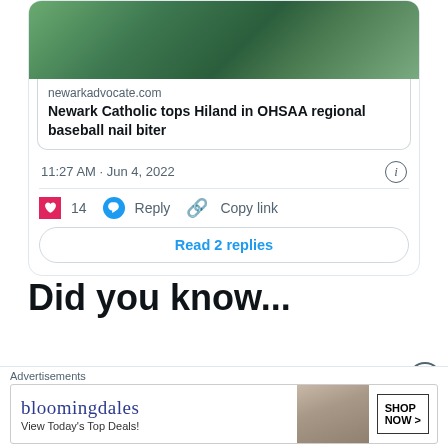[Figure (screenshot): Tweet card with photo of baseball players in green uniforms embracing, link preview to newarkadvocate.com article 'Newark Catholic tops Hiland in OHSAA regional baseball nail biter', timestamp 11:27 AM · Jun 4, 2022, 14 likes, Reply and Copy link actions, Read 2 replies button]
newarkadvocate.com
Newark Catholic tops Hiland in OHSAA regional baseball nail biter
11:27 AM · Jun 4, 2022
14  Reply  Copy link
Read 2 replies
Did you know...
In 1971 Russia won the OHSAA Class A State Baseball
[Figure (screenshot): Bloomingdale's advertisement banner: 'bloomingdales View Today's Top Deals!' with woman in hat and SHOP NOW > button]